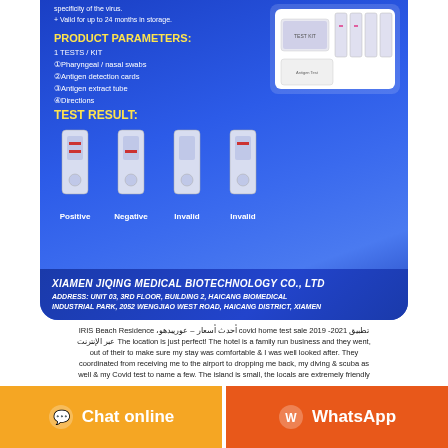[Figure (photo): Blue product card showing COVID antigen test kit with product parameters, test result images (Positive, Negative, Invalid, Invalid strips), product image top right, and company info banner at bottom]
تطبيق covid home test sale 2019 -2021 أحدث أسعار – عوريبدهو، IRIS Beach Residence The location is just perfect! The hotel is a family run business and they went, عبر الإنترنت out of their to make sure my stay was comfortable & I was well looked after. They coordinated from receiving me to the airport to dropping me back, my diving & scuba as well & my Covid test to name a few. The island is small, the locals are extremely friendly and warm.ShahidMBC Shahid, the first free video-on-demand and leading TV catch-up service in the Middle East & North Africa (MENA) region.
[Figure (screenshot): Chat online button (orange) and WhatsApp button (dark orange) at bottom of page]